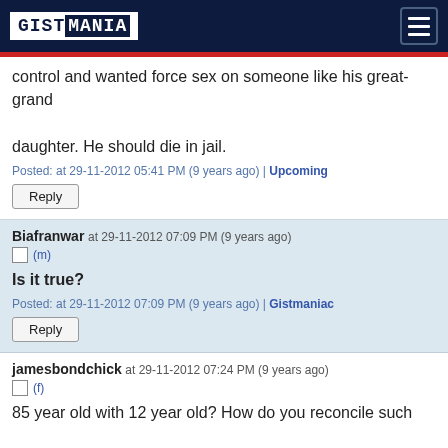GISTMANIA
control and wanted force sex on someone like his great-grand daughter. He should die in jail.
Posted: at 29-11-2012 05:41 PM (9 years ago) | Upcoming
Reply
Biafranwar at 29-11-2012 07:09 PM (9 years ago)
(m)
Is it true?
Posted: at 29-11-2012 07:09 PM (9 years ago) | Gistmaniac
Reply
jamesbondchick at 29-11-2012 07:24 PM (9 years ago)
(f)
85 year old with 12 year old? How do you reconcile such evil??? Just give the old bastard the death penalty abeg!